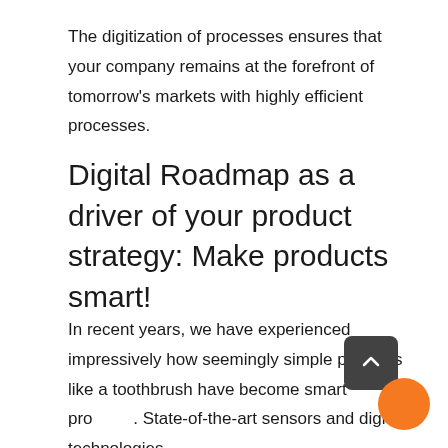The digitization of processes ensures that your company remains at the forefront of tomorrow's markets with highly efficient processes.
Digital Roadmap as a driver of your product strategy: Make products smart!
In recent years, we have experienced impressively how seemingly simple products like a toothbrush have become smart products. State-of-the-art sensors and digital technologies